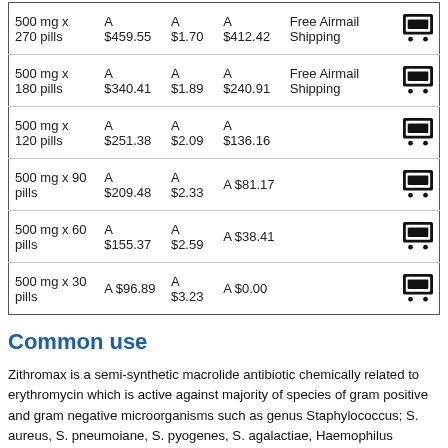| Package | Price | Per pill | Savings | Shipping |  |
| --- | --- | --- | --- | --- | --- |
| 500 mg x 270 pills | A $459.55 | A $1.70 | A $412.42 | Free Airmail Shipping | 🛒 |
| 500 mg x 180 pills | A $340.41 | A $1.89 | A $240.91 | Free Airmail Shipping | 🛒 |
| 500 mg x 120 pills | A $251.38 | A $2.09 | A $136.16 |  | 🛒 |
| 500 mg x 90 pills | A $209.48 | A $2.33 | A $81.17 |  | 🛒 |
| 500 mg x 60 pills | A $155.37 | A $2.59 | A $38.41 |  | 🛒 |
| 500 mg x 30 pills | A $96.89 | A $3.23 | A $0.00 |  | 🛒 |
Common use
Zithromax is a semi-synthetic macrolide antibiotic chemically related to erythromycin which is active against majority of species of gram positive and gram negative microorganisms such as genus Staphylococcus; S. aureus, S. pneumoiane, S. pyogenes, S. agalactiae, Haemophilus influenzae and parainfluenzae, Moraxela catarrhalis, Bacteroides fragilis, Escherichia coli, Bordetella ssp., Borrelia burgdorferi, Haemophilus ducreui, Nisseria gonorrhoeae Ø Chlamidia trachomati. In vitro it showed activity against Legionella pneumophila, Mycoplasma pneumoiae hominis, Helicobacter pylori, Toxoplasma gondii, Ureaplasma urealiticum. As a Macrolide